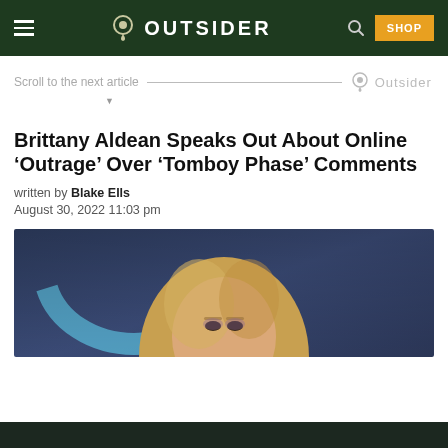OUTSIDER
Scroll to the next article — Outsider
Brittany Aldean Speaks Out About Online ‘Outrage’ Over ‘Tomboy Phase’ Comments
written by Blake Ells
August 30, 2022 11:03 pm
[Figure (photo): Photo of Brittany Aldean, a blonde woman, at an event with a blue arc logo in the background]